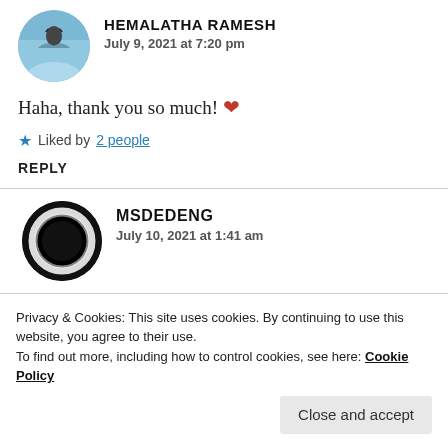[Figure (photo): Circular avatar photo of Hemalatha Ramesh showing sky and bird silhouette]
HEMALATHA RAMESH
July 9, 2021 at 7:20 pm
Haha, thank you so much! ❤
★ Liked by 2 people
REPLY
[Figure (photo): Circular avatar photo of msdedeng showing black circle/eclipse on white]
MSDEDENG
July 10, 2021 at 1:41 am
Privacy & Cookies: This site uses cookies. By continuing to use this website, you agree to their use.
To find out more, including how to control cookies, see here: Cookie Policy
Close and accept